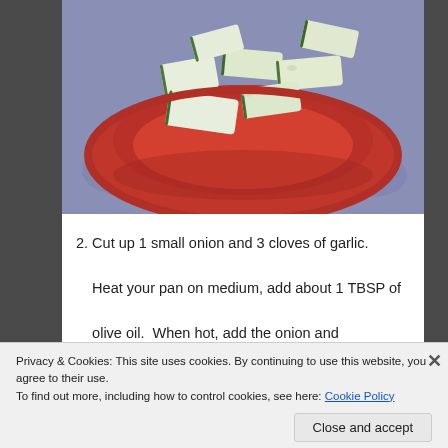[Figure (photo): A red bowl filled with sliced zucchini pieces on a granite countertop, viewed from above.]
2. Cut up 1 small onion and 3 cloves of garlic. Heat your pan on medium, add about 1 TBSP of olive oil.  When hot, add the onion and salt/pepper.  When the onion is just close to
Privacy & Cookies: This site uses cookies. By continuing to use this website, you agree to their use.
To find out more, including how to control cookies, see here: Cookie Policy
Close and accept